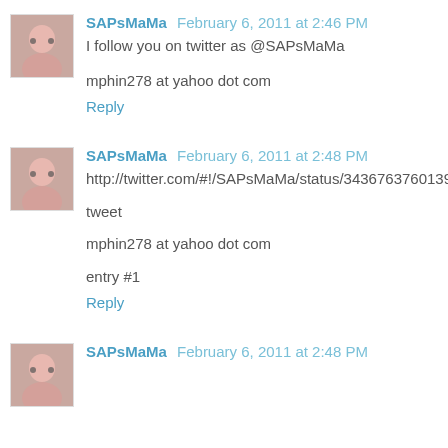SAPsMaMa February 6, 2011 at 2:46 PM
I follow you on twitter as @SAPsMaMa
mphin278 at yahoo dot com
Reply
SAPsMaMa February 6, 2011 at 2:48 PM
http://twitter.com/#!/SAPsMaMa/status/34367637601394688
tweet
mphin278 at yahoo dot com
entry #1
Reply
SAPsMaMa February 6, 2011 at 2:48 PM